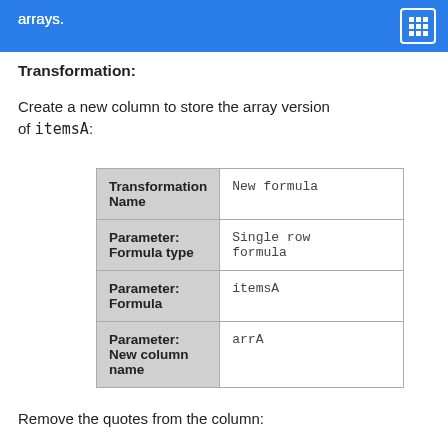arrays.
Transformation:
Create a new column to store the array version of itemsA:
|  |  |
| --- | --- |
| Transformation Name | New formula |
| Parameter: Formula type | Single row formula |
| Parameter: Formula | itemsA |
| Parameter: New column name | arrA |
Remove the quotes from the column: